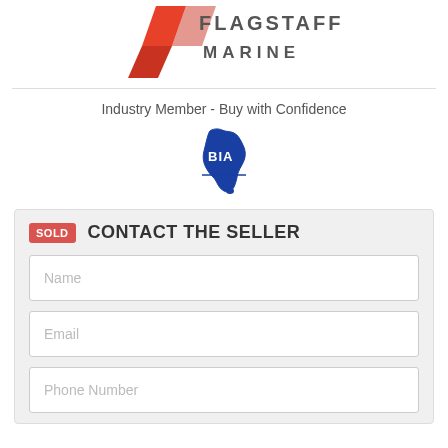[Figure (logo): Flagstaff Marine logo with red diamond/chevron shape and grey 'FLAGSTAFF MARINE' text]
Industry Member - Buy with Confidence
[Figure (logo): BIA (Boating Industry Association) logo showing blue Australia map outline with BIA text]
SOLD
CONTACT THE SELLER
Name
Email
Phone Number